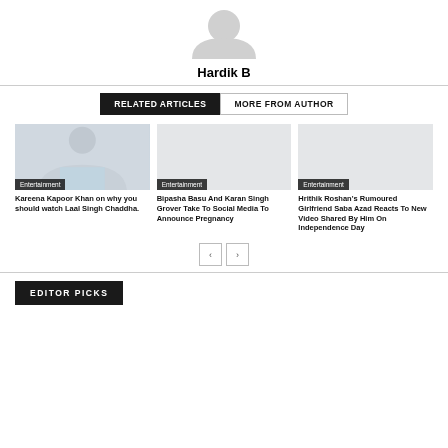[Figure (illustration): Avatar/profile silhouette icon, gray placeholder]
Hardik B
RELATED ARTICLES
MORE FROM AUTHOR
[Figure (photo): Kareena Kapoor Khan photo with Entertainment tag]
Kareena Kapoor Khan on why you should watch Laal Singh Chaddha.
[Figure (photo): Blank/placeholder image with Entertainment tag]
Bipasha Basu And Karan Singh Grover Take To Social Media To Announce Pregnancy
[Figure (photo): Blank/placeholder image with Entertainment tag]
Hrithik Roshan's Rumoured Girlfriend Saba Azad Reacts To New Video Shared By Him On Independence Day
EDITOR PICKS